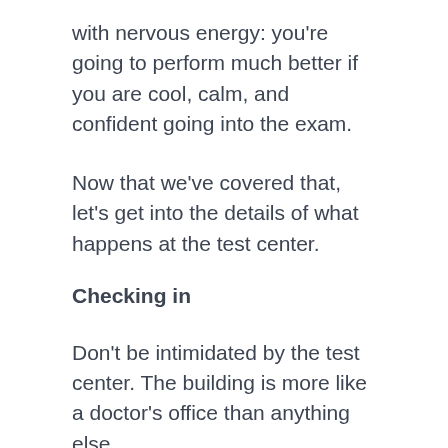with nervous energy: you're going to perform much better if you are cool, calm, and confident going into the exam.
Now that we've covered that, let's get into the details of what happens at the test center.
Checking in
Don't be intimidated by the test center. The building is more like a doctor's office than anything else.
When you first walk in the door, you'll need to tell them what test you're taking and give them a current government ID like a driver's license or passport. Then you'll need to sign a disclosure form that's